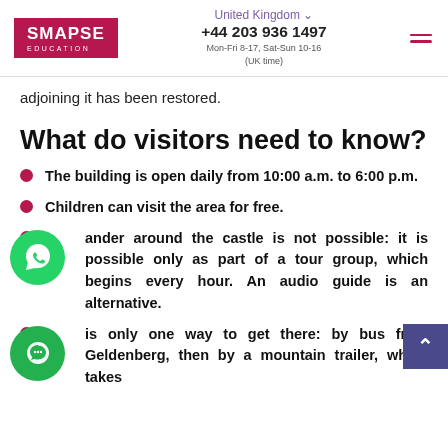United Kingdom +44 203 936 1497 Mon-Fri 8-17, Sat-Sun 10-16 (UK time)
adjoining it has been restored.
What do visitors need to know?
The building is open daily from 10:00 a.m. to 6:00 p.m.
Children can visit the area for free.
ander around the castle is not possible: it is possible only as part of a tour group, which begins every hour. An audio guide is an alternative.
is only one way to get there: by bus from Geldenberg, then by a mountain trailer, which takes